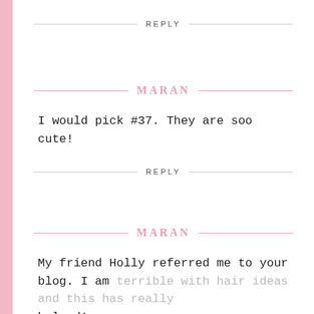REPLY
MARAN
I would pick #37. They are soo cute!
REPLY
MARAN
My friend Holly referred me to your blog. I am terrible with hair ideas and this has really helped!